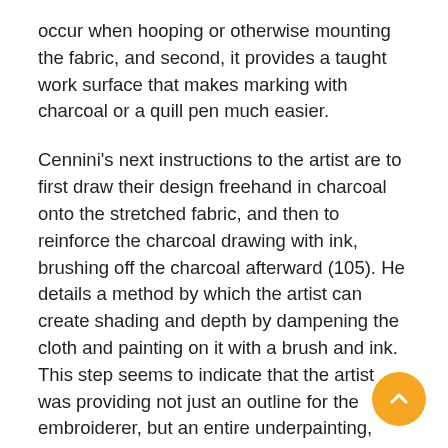occur when hooping or otherwise mounting the fabric, and second, it provides a taught work surface that makes marking with charcoal or a quill pen much easier.
Cennini's next instructions to the artist are to first draw their design freehand in charcoal onto the stretched fabric, and then to reinforce the charcoal drawing with ink, brushing off the charcoal afterward (105). He details a method by which the artist can create shading and depth by dampening the cloth and painting on it with a brush and ink. This step seems to indicate that the artist was providing not just an outline for the embroiderer, but an entire underpainting, complete with shading. This would have been an invaluable asset especially for those embroiderers hired to create the complex figurative embroideries often seen on